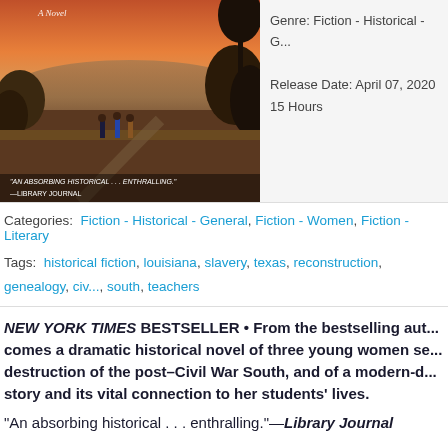[Figure (photo): Book cover image showing a historical scene with figures in a landscape at sunset/dusk, with text 'A Novel' and a quote from Library Journal: 'An absorbing historical... enthralling.']
Genre: Fiction - Historical - G...
Release Date: April 07, 2020
15 Hours
Categories: Fiction - Historical - General, Fiction - Women, Fiction - Literary
Tags: historical fiction, louisiana, slavery, texas, reconstruction, genealogy, civ..., south, teachers
NEW YORK TIMES BESTSELLER • From the bestselling aut... comes a dramatic historical novel of three young women se... destruction of the post–Civil War South, and of a modern-d... story and its vital connection to her students' lives.
"An absorbing historical . . . enthralling."—Library Journal